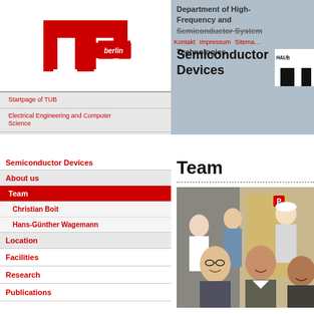[Figure (logo): TU Berlin red logo with word 'berlin' in white on red background]
Startpage of TUB
Electrical Engineering and Computer Science
Department of High-Frequency and Semiconductor System Technologies
Department of High-Frequency and Semiconductor System Technologies
Kontakt   Impressum   Sitemap
Semiconductor Devices
[Figure (logo): HALB logo partial, white rectangle top right]
Semiconductor Devices
About us
Team
Christian Boit
Hans-Günther Wagemann
Location
Facilities
Research
Publications
Team
[Figure (photo): Group photo of team members in a laboratory setting, multiple people smiling at the camera]